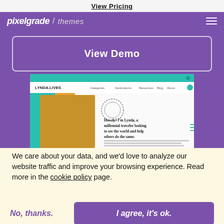View Pricing
[Figure (screenshot): Pixelgrade themes navigation bar with logo and hamburger menu on purple background]
View Demo
[Figure (screenshot): Screenshot of a travel blog website called Lyndo with a hero image of a woman traveler and text 'Howdy! I'm Lynda, a millennial traveler looking to see the world and help others do the same.']
We care about your data, and we'd love to analyze our website traffic and improve your browsing experience. Read more in the cookie policy page.
No, thanks.
I agree, it's ok.